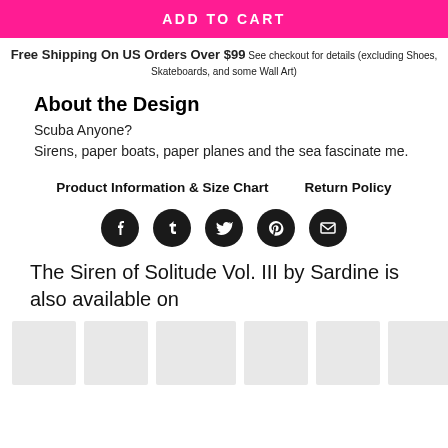ADD TO CART
Free Shipping On US Orders Over $99 See checkout for details (excluding Shoes, Skateboards, and some Wall Art)
About the Design
Scuba Anyone?
Sirens, paper boats, paper planes and the sea fascinate me.
Product Information & Size Chart    Return Policy
[Figure (other): Social media share icons: Facebook, Tumblr, Twitter, Pinterest, Email]
The Siren of Solitude Vol. III by Sardine is also available on
[Figure (other): Row of product thumbnail images (light gray placeholder boxes)]